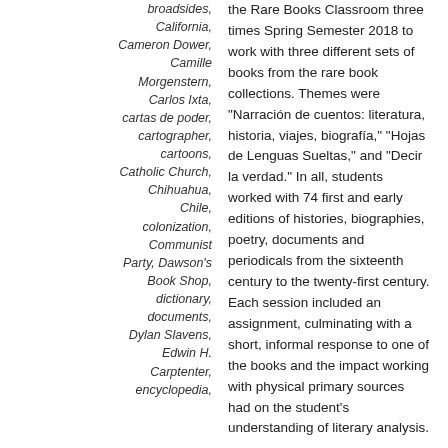broadsides, California, Cameron Dower, Camille Morgenstern, Carlos Ixta, cartas de poder, cartographer, cartoons, Catholic Church, Chihuahua, Chile, colonization, Communist Party, Dawson's Book Shop, dictionary, documents, Dylan Slavens, Edwin H. Carptenter, encyclopedia,
the Rare Books Classroom three times Spring Semester 2018 to work with three different sets of books from the rare book collections. Themes were "Narración de cuentos: literatura, historia, viajes, biografía," "Hojas de Lenguas Sueltas," and "Decir la verdad." In all, students worked with 74 first and early editions of histories, biographies, poetry, documents and periodicals from the sixteenth century to the twenty-first century. Each session included an assignment, culminating with a short, informal response to one of the books and the impact working with physical primary sources had on the student's understanding of literary analysis.
Many thanks to the students who participated with such enthusiasm. We will always remember one early exclamation, "Best day of college ever!"
Muchos misterios están escondidos en la historia